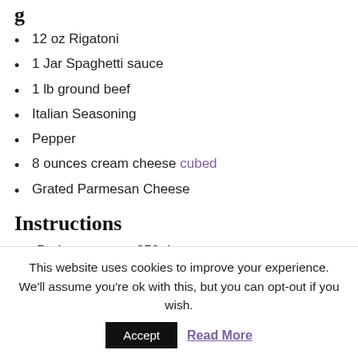12 oz Rigatoni
1 Jar Spaghetti sauce
1 lb ground beef
Italian Seasoning
Pepper
8 ounces cream cheese cubed
Grated Parmesan Cheese
Instructions
1. Preheat oven to 350 degrees.
2. Prepare rigatoni pasta as directions on box.
3. While pasta is cooking, brown ground beef thoroughly. Drain and rinse with hot water. Stir in
This website uses cookies to improve your experience. We'll assume you're ok with this, but you can opt-out if you wish.